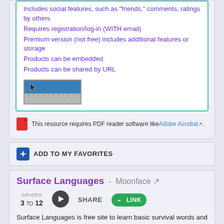Includes social features, such as "friends," comments, ratings by others
Requires registration/log-in (WITH email)
Premium version (not free) includes additional features or storage
Products can be embedded
Products can be shared by URL
[Figure (screenshot): Screenshot thumbnail of a software interface with a blue toolbar and ruler]
This resource requires PDF reader software like Adobe Acrobat.
ADD TO MY FAVORITES
Surface Languages - Moonface
GRADES 3 TO 12
Surface Languages is free site to learn basic survival words and phrases on a variety of topics in 37 different languages. Learn phrases in Afrikaans, Slovak, Arabic, Spanish, Bosnian, Swahili, Bulgarian, Swedish, Catalan, Turkish, Chinese, Ukrainian,